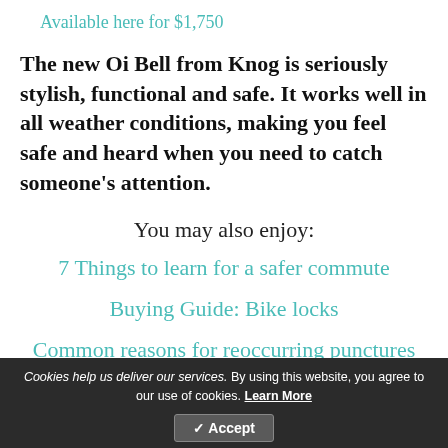Available here for $1,750
The new Oi Bell from Knog is seriously stylish, functional and safe. It works well in all weather conditions, making you feel safe and heard when you need to catch someone's attention.
You may also enjoy:
7 Things to learn for a safer commute
Buying Guide: Bike locks
Common reasons for reoccurring punctures
Cookies help us deliver our services. By using this website, you agree to our use of cookies. Learn More | Accept | HOME | SHARE | SEARCH | MENU